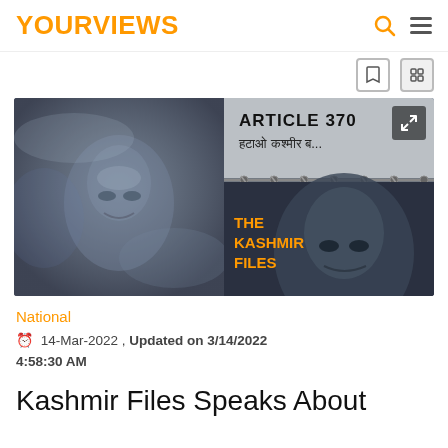YOURVIEWS
[Figure (photo): Composite promotional image for 'The Kashmir Files' movie showing two side-by-side scenes: left side shows a grainy face of an elderly man in blue-grey haze; right side shows text 'ARTICLE 370 हटाओ कश्मीर बचाओ' on a wall above barbed wire, with 'THE KASHMIR FILES' text in orange over a dark portrait of a man]
National
14-Mar-2022 , Updated on 3/14/2022 4:58:30 AM
Kashmir Files Speaks About